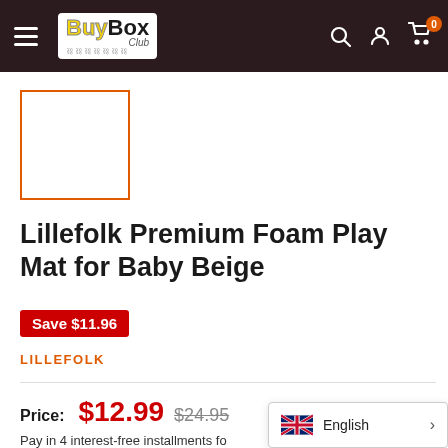BuyBox Club — navigation header with logo, search, account, cart (0)
[Figure (other): Product thumbnail placeholder — empty white box with orange border]
Lillefolk Premium Foam Play Mat for Baby Beige
Save $11.96
LILLEFOLK
Price: $12.99   $24.95
Pay in 4 interest-free installments fo…